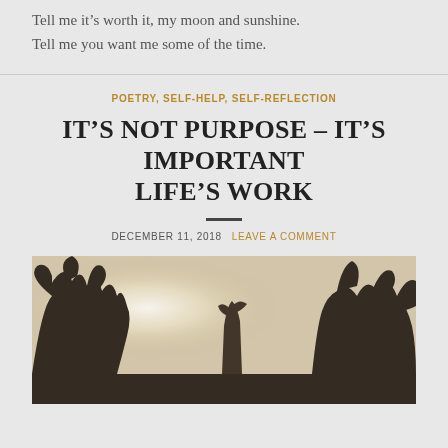Tell me it's worth it, my moon and sunshine.
Tell me you want me some of the time.
POETRY, SELF-HELP, SELF-REFLECTION
IT'S NOT PURPOSE – IT'S IMPORTANT LIFE'S WORK
DECEMBER 11, 2018   LEAVE A COMMENT
[Figure (photo): Black and white outdoor photo of bare trees silhouetted against a bright misty sky, with a glowing light source visible in the upper left area of the image.]